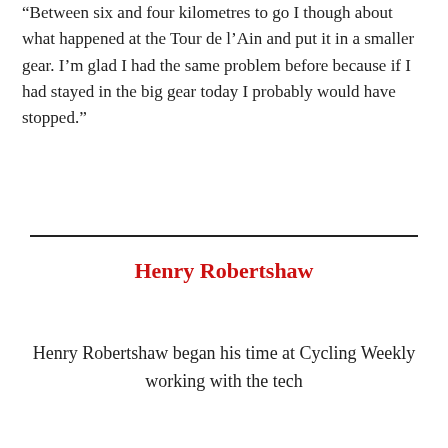“Between six and four kilometres to go I though about what happened at the Tour de l’Ain and put it in a smaller gear. I’m glad I had the same problem before because if I had stayed in the big gear today I probably would have stopped.”
Henry Robertshaw
Henry Robertshaw began his time at Cycling Weekly working with the tech